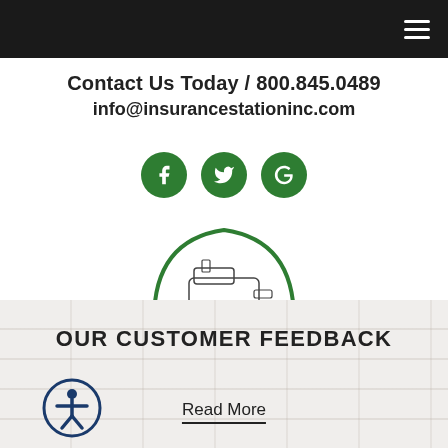Contact Us Today / 800.845.0489
info@insurancestationinc.com
[Figure (logo): The Insurance Station logo with train illustration and arch]
a broad spectrum of options to meet your needs. We can provide a range of business liability insurance quotes and help you make an informed choice.
OUR CUSTOMER FEEDBACK
Read More